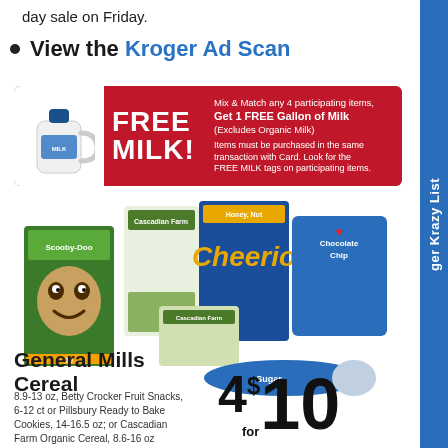day sale on Friday.
View the Kroger Ad Scan
[Figure (infographic): Red banner promotional image: FREE MILK! Mix & Match any 4 participating items, Get 1 FREE Gallon of Milk (Excludes Organic Milk). Items must be purchased in the same transaction with Card. Look for the FREE MILK tags on participating items. Shows milk jug illustration on left.]
[Figure (photo): Product photo collage showing General Mills Cereal boxes (Cascadian Farm, Honey Nut Cheerios), Scooby-Doo snacks, Cascadian Farm granola bars, Pillsbury Chocolate Chip cookies bag, and Pillsbury Sugar cookie dough roll.]
General Mills Cereal
8.9-13 oz, Betty Crocker Fruit Snacks, 6-12 ct or Pillsbury Ready to Bake Cookies, 14-16.5 oz; or Cascadian Farm Organic Cereal, 8.6-16 oz
4 for $10
Kroger Krazy List